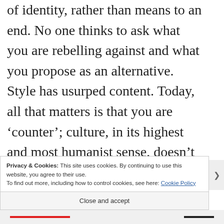of identity, rather than means to an end. No one thinks to ask what you are rebelling against and what you propose as an alternative. Style has usurped content. Today, all that matters is that you are 'counter'; culture, in its highest and most humanist sense, doesn't seem to matter.
Privacy & Cookies: This site uses cookies. By continuing to use this website, you agree to their use.
To find out more, including how to control cookies, see here: Cookie Policy
Close and accept